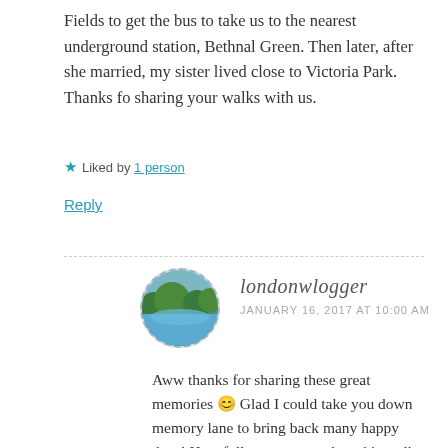Fields to get the bus to take us to the nearest underground station, Bethnal Green. Then later, after she married, my sister lived close to Victoria Park. Thanks fo sharing your walks with us.
★ Liked by 1 person
Reply
[Figure (photo): Circular avatar photo of londonwlogger showing a canal or park scene with trees and water, framed with a dashed circular border.]
londonwlogger
JANUARY 16, 2017 AT 10:00 AM
Aww thanks for sharing these great memories 😊 Glad I could take you down memory lane to bring back many happy days! Hopefully you can explore this walk again soon 😊